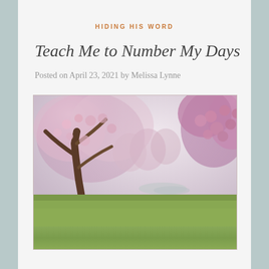HIDING HIS WORD
Teach Me to Number My Days
Posted on April 23, 2021 by Melissa Lynne
[Figure (photo): A spring scene with blooming pink cherry blossom and magnolia trees in a park with green grass and a pond in the background. The left side shows a tree trunk with cascading pink blossoms, and the right side shows close-up pink magnolia flowers. The bottom of the image shows a green grassy area.]